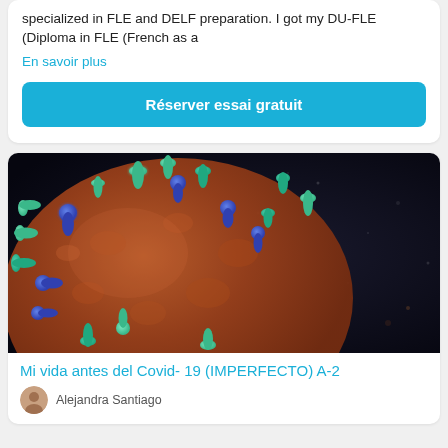specialized in FLE and DELF preparation. I got my DU-FLE (Diploma in FLE (French as a
En savoir plus
Réserver essai gratuit
[Figure (photo): Close-up microscope image of a coronavirus particle with green and blue spike proteins on an orange-red surface against a dark background]
Mi vida antes del Covid- 19 (IMPERFECTO) A-2
Alejandra Santiago